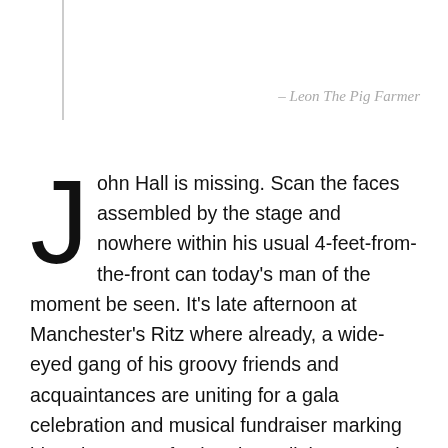– Leon The Pig Farmer
John Hall is missing. Scan the faces assembled by the stage and nowhere within his usual 4-feet-from-the-front can today's man of the moment be seen. It's late afternoon at Manchester's Ritz where already, a wide-eyed gang of his groovy friends and acquaintances are uniting for a gala celebration and musical fundraiser marking his existence. Of John I know little; our paths first crossed in the snug of Salford's Eagle Inn. He'd taken a liking to a friend's socks and since then has been the guy with a grin on his face, panning his camera back and forth from artist to audience whilst filming the scenes unfolding before him (and sharing the gig footage